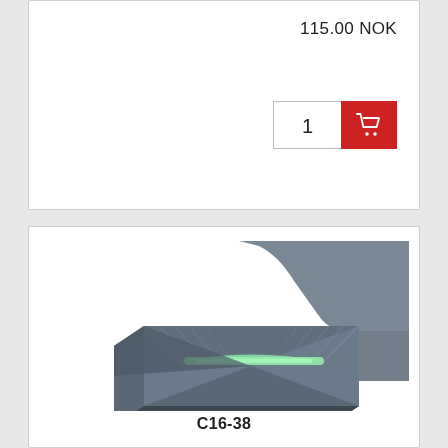115.00 NOK
1
[Figure (photo): Dark gray rectangular plastic wedge/shim product with green strip in center groove, with a partial view of a larger gray plastic part in the upper right. Product code C16-38 shown below.]
C16-38